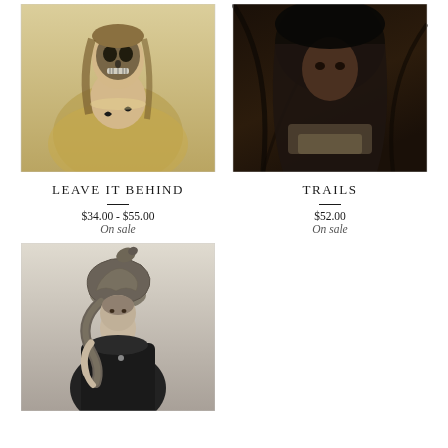[Figure (photo): Vintage portrait of a woman in a yellow dress with skull face paint overlay]
LEAVE IT BEHIND
$34.00 - $55.00
On sale
[Figure (photo): Dark dramatic portrait of a person in a dark veil or hood against a dark background with tree branches]
TRAILS
$52.00
On sale
[Figure (photo): Black and white vintage photo of a woman wearing a large snake coiled on her head as a hat, holding the snake]